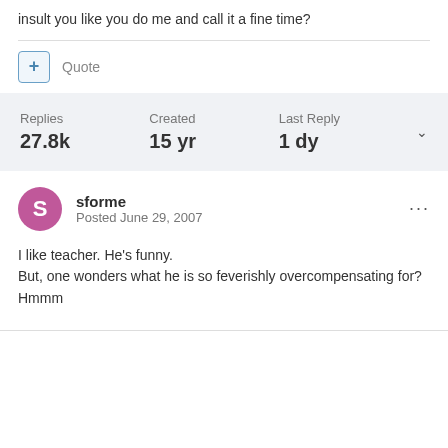insult you like you do me and call it a fine time?
Quote
Replies 27.8k  Created 15 yr  Last Reply 1 dy
sforme
Posted June 29, 2007
I like teacher. He's funny.
But, one wonders what he is so feverishly overcompensating for?
Hmmm